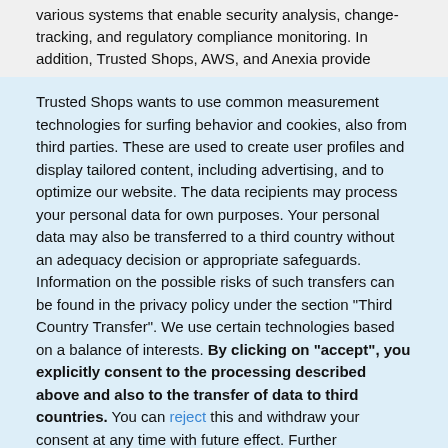various systems that enable security analysis, change-tracking, and regulatory compliance monitoring. In addition, Trusted Shops, AWS, and Anexia provide
Trusted Shops wants to use common measurement technologies for surfing behavior and cookies, also from third parties. These are used to create user profiles and display tailored content, including advertising, and to optimize our website. The data recipients may process your personal data for own purposes. Your personal data may also be transferred to a third country without an adequacy decision or appropriate safeguards. Information on the possible risks of such transfers can be found in the privacy policy under the section "Third Country Transfer". We use certain technologies based on a balance of interests. By clicking on "accept", you explicitly consent to the processing described above and also to the transfer of data to third countries. You can reject this and withdraw your consent at any time with future effect. Further information, including your right of withdrawal and objection, can be found in the cookie settings, privacy policy and in the legal notice.